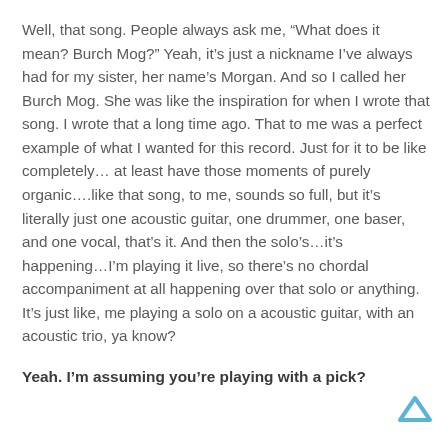Well, that song.  People always ask me, “What does it mean? Burch Mog?”  Yeah, it’s just a nickname I’ve always had for my sister, her name’s Morgan. And so I called her Burch Mog.  She was like the inspiration for when I wrote that song.  I wrote that a long time ago. That to me was a perfect example of what I wanted for this record.  Just for it to be like completely… at least have those moments of purely organic….like that song, to me, sounds so full, but it’s literally just one acoustic guitar, one drummer, one baser, and one vocal, that’s it. And then the solo’s…it’s happening…I’m playing it live, so there’s no chordal accompaniment at all happening over that solo or anything. It’s just like, me playing a solo on a acoustic guitar, with an acoustic trio, ya know?
Yeah.  I’m assuming you’re playing with a pick?